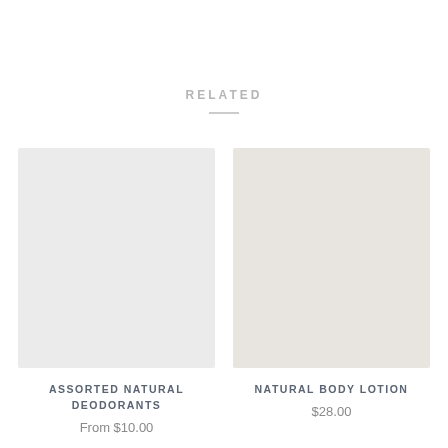RELATED
[Figure (photo): Light gray square placeholder image for Assorted Natural Deodorants product]
ASSORTED NATURAL DEODORANTS
From $10.00
[Figure (photo): Warm light beige square placeholder image for Natural Body Lotion product]
NATURAL BODY LOTION
$28.00